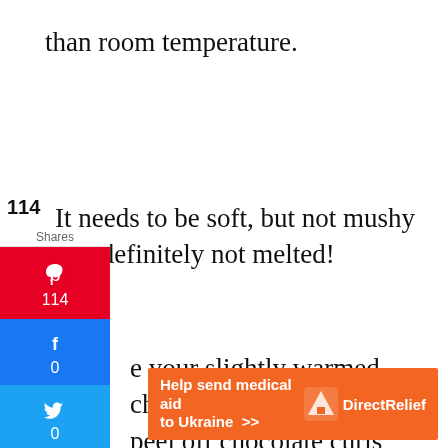than room temperature.
It needs to be soft, but not mushy and definitely not melted!
Take your slightly warmed chocolate bar and carefully peel off chocolate curls with your potato peeler.
...y, classy, and delicious.
[Figure (infographic): Social share sidebar with Pinterest (114 shares), Facebook (0), Twitter (0), and a plus/more button. Displayed on left side of page.]
[Figure (infographic): Orange banner advertisement for DirectRelief: 'Help send medical aid to Ukraine >>' with DirectRelief logo on right side.]